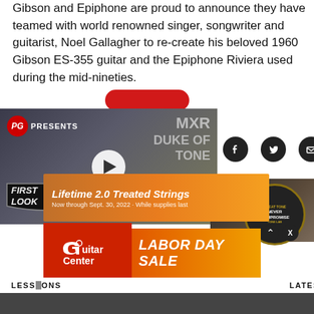Gibson and Epiphone are proud to announce they have teamed with world renowned singer, songwriter and guitarist, Noel Gallagher to re-create his beloved 1960 Gibson ES-355 guitar and the Epiphone Riviera used during the mid-nineties.
[Figure (screenshot): Video thumbnail for PG Presents - MXR Duke of Tone First Look video, with play button overlay]
[Figure (infographic): Social media share icons: Facebook, Twitter, Email]
[Figure (infographic): Advertisement banner for Lifetime 2.0 Treated Strings, Now through Sept. 30, 2022, While supplies last]
[Figure (infographic): Guitar Center Labor Day Sale advertisement banner]
LESSONS
LATEST